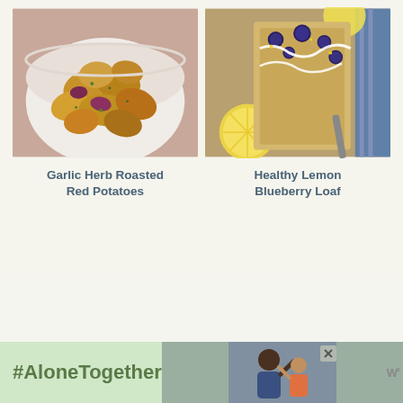[Figure (photo): Photo of Garlic Herb Roasted Red Potatoes in a white bowl, golden-brown roasted potato chunks with herbs]
Garlic Herb Roasted Red Potatoes
[Figure (photo): Photo of Healthy Lemon Blueberry Loaf slices on a wooden board with blueberries, lemon slices, and white icing drizzle]
Healthy Lemon Blueberry Loaf
[Figure (photo): Advertisement banner with #AloneTogether text and a photo of a man and child waving, with a brand logo]